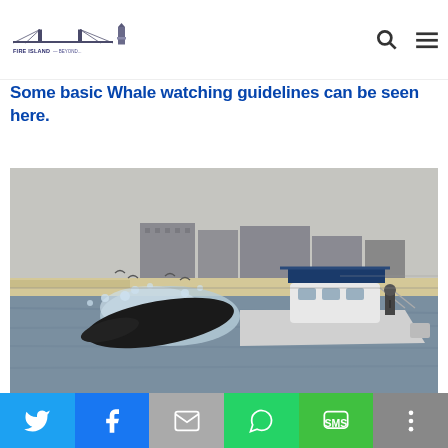Fire Island and Beyond logo with search and menu icons
Some basic Whale watching guidelines can be seen here.
[Figure (photo): A humpback whale breaching very close to a motorboat on the water near a beach with large buildings visible in the background. A person stands at the stern of the boat.]
Social share bar: Twitter, Facebook, Email, WhatsApp, SMS, More